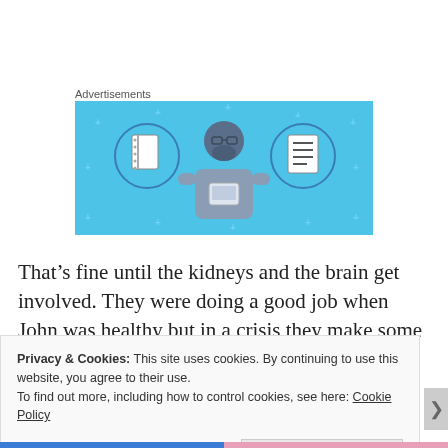Advertisements
[Figure (illustration): Blue banner advertisement showing a cartoon person looking at a phone, flanked by two circular icons: a notebook on the left and a lined document/list on the right. Light blue background with small plus/star decorative elements.]
That’s fine until the kidneys and the brain get involved. They were doing a good job when John was healthy but in a crisis they make some bad management decisions. When
Privacy & Cookies: This site uses cookies. By continuing to use this website, you agree to their use.
To find out more, including how to control cookies, see here: Cookie Policy
Close and accept